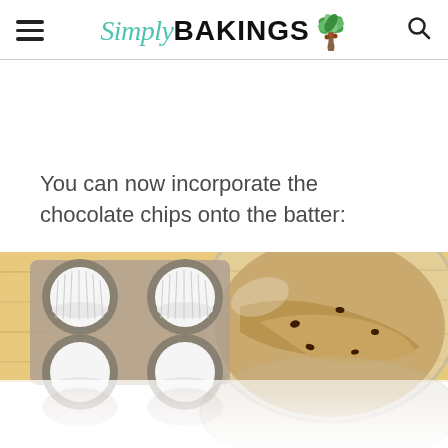Simply BAKINGS
You can now incorporate the chocolate chips onto the batter:
[Figure (photo): A muffin tin with white paper liners beside a glass bowl containing banana muffin batter with chocolate chips, on a wooden surface. The bottom portion shows a faded/reflected version of the same scene.]